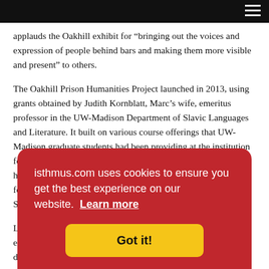applauds the Oakhill exhibit for “bringing out the voices and expression of people behind bars and making them more visible and present” to others.
The Oakhill Prison Humanities Project launched in 2013, using grants obtained by Judith Kornblatt, Marc’s wife, emeritus professor in the UW-Madison Department of Slavic Languages and Literature. It built on various course offerings that UW-Madison graduate students had been providing at the institution for years. Currently the program is offering five classes: a history class on 20th-century migrations, a narrative class featuring works by writers including Anne Lamott and Gertrude Stein, a fiction readi... to phi...
Lois D... studie... Natio... attain... education. Sixteen percent of state prisoners have a high school dip...
[Figure (other): Cookie consent banner overlay with red background reading 'isthmus.com uses cookies to ensure you get the best experience on our website. Learn more' with a yellow 'Got it!' button.]